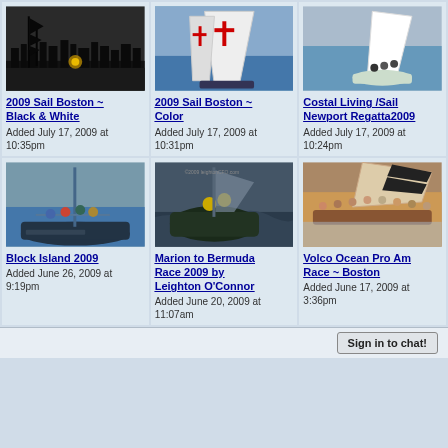[Figure (photo): Black and white photo of a tall sailing ship silhouetted against a sunset cityscape]
2009 Sail Boston ~ Black & White
Added July 17, 2009 at 10:35pm
[Figure (photo): Color photo of a tall ship with red cross sails seen from below against blue sky]
2009 Sail Boston ~ Color
Added July 17, 2009 at 10:31pm
[Figure (photo): Color photo of a small racing sailboat with crew on the water]
Costal Living /Sail Newport Regatta2009
Added July 17, 2009 at 10:24pm
[Figure (photo): Photo of people on a sailboat deck]
Block Island 2009
Added June 26, 2009 at 9:19pm
[Figure (photo): Photo of a racing sailboat cutting through rough water with yellow-jacketed crew]
Marion to Bermuda Race 2009 by Leighton O'Connor
Added June 20, 2009 at 11:07am
[Figure (photo): Photo of crew on a heeling sailboat racing]
Volco Ocean Pro Am Race ~ Boston
Added June 17, 2009 at 3:36pm
Sign in to chat!